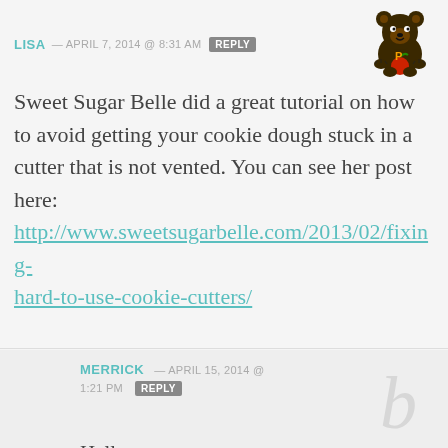LISA — APRIL 7, 2014 @ 8:31 AM  REPLY
Sweet Sugar Belle did a great tutorial on how to avoid getting your cookie dough stuck in a cutter that is not vented. You can see her post here: http://www.sweetsugarbelle.com/2013/02/fixing-hard-to-use-cookie-cutters/
MERRICK — APRIL 15, 2014 @ 1:21 PM  REPLY
Hello,
Could sifting my flour with a wire whisk before adding it to my wet ingredients cause spreading? Also, I apologize if you've already